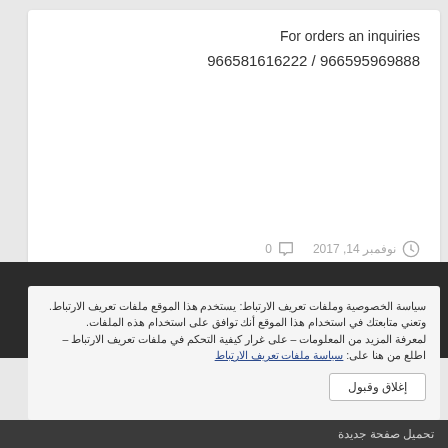For orders an inquiries
966581616222 / 966595969888
نوفمبر 14, 2017   0
سياسة الخصوصية وملفات تعريف الارتباط: يستخدم هذا الموقع ملفات تعريف الارتباط. وتعني متابعتك في استخدام هذا الموقع أنك توافق على استخدام هذه الملفات. لمعرفة المزيد من المعلومات – على غرار كيفية التحكم في ملفات تعريف الارتباط – اطلع من هنا على: سياسة ملفات تعريف الارتباط
إغلاق وقبول
تحميل صفحة جديدة